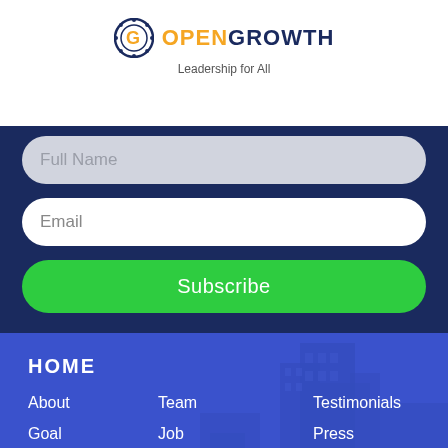[Figure (logo): OpenGrowth logo with gear/G icon, orange OPEN and dark blue GROWTH text]
Leadership for All
Full Name
Email
Subscribe
HOME
About
Team
Testimonials
Goal
Job
Press
Privacy
Job Openings
Releases
Policy